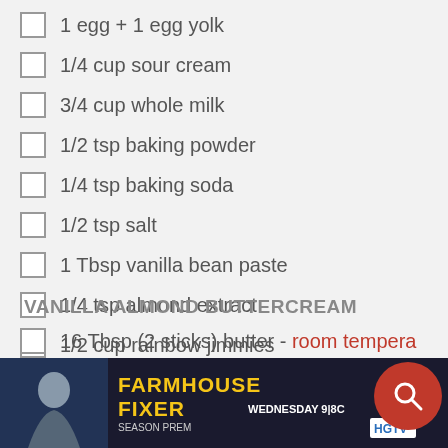1 egg + 1 egg yolk
1/4 cup sour cream
3/4 cup whole milk
1/2 tsp baking powder
1/4 tsp baking soda
1/2 tsp salt
1 Tbsp vanilla bean paste
1/4 tsp almond extract
1/2 cup rainbow jimmies
VANILLA ALMOND BUTTERCREAM
16 Tbsp (2 sticks) butter - room temperature
3 Tbsp heavy cream
1 1/2 tsp vanilla extract
1/4 tsp almond extract